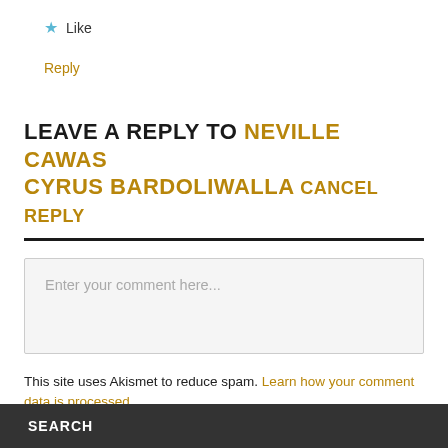★ Like
Reply
LEAVE A REPLY TO NEVILLE CAWAS CYRUS BARDOLIWALLA CANCEL REPLY
Enter your comment here...
This site uses Akismet to reduce spam. Learn how your comment data is processed.
SEARCH